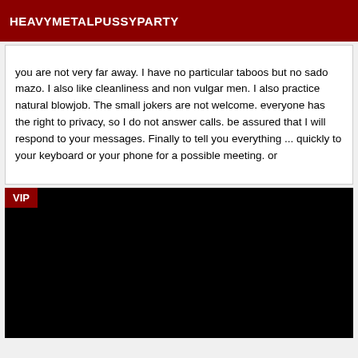HEAVYMETALPUSSYPARTY
you are not very far away. I have no particular taboos but no sado mazo. I also like cleanliness and non vulgar men. I also practice natural blowjob. The small jokers are not welcome. everyone has the right to privacy, so I do not answer calls. be assured that I will respond to your messages. Finally to tell you everything ... quickly to your keyboard or your phone for a possible meeting. or
[Figure (photo): Black image section with VIP badge label in red at top left corner]